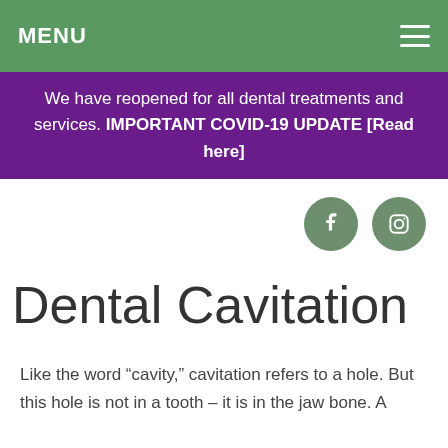MENU
We have reopened for all dental treatments and services. IMPORTANT COVID-19 UPDATE [Read here]
[Figure (other): Facebook and Instagram social media icon buttons (circular, sage green color)]
Dental Cavitation
Like the word “cavity,” cavitation refers to a hole. But this hole is not in a tooth – it is in the jaw bone. A